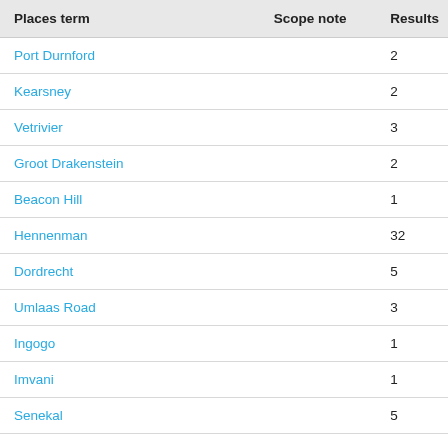| Places term | Scope note | Results |
| --- | --- | --- |
| Port Durnford |  | 2 |
| Kearsney |  | 2 |
| Vetrivier |  | 3 |
| Groot Drakenstein |  | 2 |
| Beacon Hill |  | 1 |
| Hennenman |  | 32 |
| Dordrecht |  | 5 |
| Umlaas Road |  | 3 |
| Ingogo |  | 1 |
| Imvani |  | 1 |
| Senekal |  | 5 |